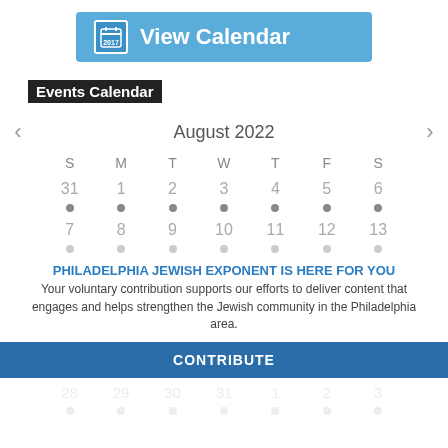[Figure (screenshot): View Calendar button with calendar icon in blue bar]
Events Calendar
[Figure (other): August 2022 calendar with navigation arrows, day columns S M T W T F S, and rows showing dates 31-6, 7-13, with dots under each date, followed by dimmed row 28-3]
PHILADELPHIA JEWISH EXPONENT IS HERE FOR YOU
Your voluntary contribution supports our efforts to deliver content that engages and helps strengthen the Jewish community in the Philadelphia area.
CONTRIBUTE